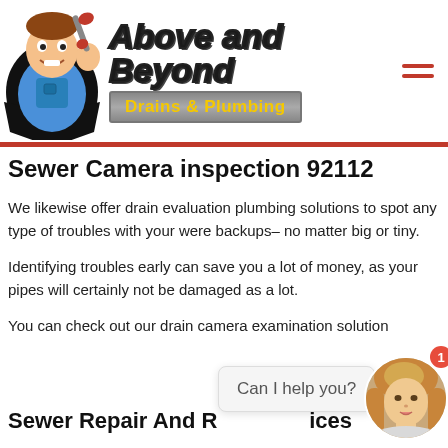[Figure (logo): Above and Beyond Drains & Plumbing logo with cartoon plumber mascot holding a wrench, logo text in cursive style, subtitle 'Drains & Plumbing' in yellow on grey banner]
Sewer Camera inspection 92112
We likewise offer drain evaluation plumbing solutions to spot any type of troubles with your were backups– no matter big or tiny.
Identifying troubles early can save you a lot of money, as your pipes will certainly not be damaged as a lot.
You can check out our drain camera examination solution
[Figure (screenshot): Chat widget with speech bubble saying 'Can I help you?' and circular avatar of a woman with blonde hair, red notification badge showing '1']
Sewer Repair And R          ices    2